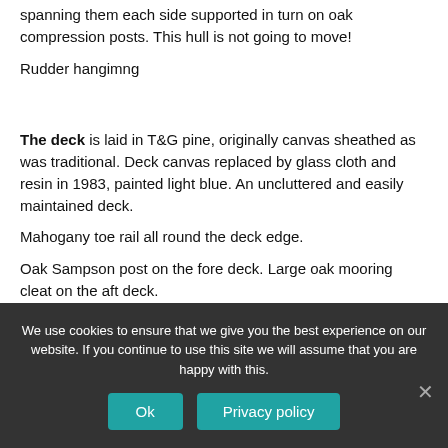spanning them each side supported in turn on oak compression posts. This hull is not going to move!
Rudder hangimng
The deck is laid in T&G pine, originally canvas sheathed as was traditional. Deck canvas replaced by glass cloth and resin in 1983, painted light blue. An uncluttered and easily maintained deck.
Mahogany toe rail all round the deck edge.
Oak Sampson post on the fore deck. Large oak mooring cleat on the aft deck.
We use cookies to ensure that we give you the best experience on our website. If you continue to use this site we will assume that you are happy with this.